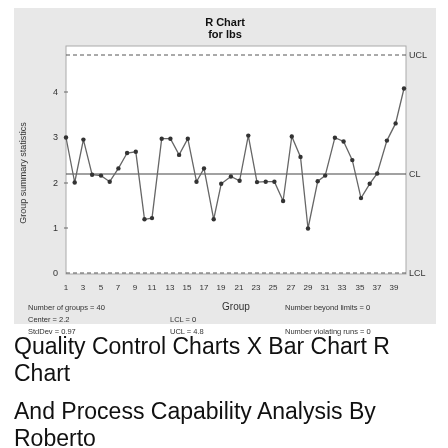[Figure (continuous-plot): R control chart for lbs showing group summary statistics (y-axis 0-4+) vs Group (x-axis 1-39). UCL dashed line near top (~4.8), CL solid line at 2.2, LCL dashed line at 0. 40 data points connected by lines showing range values oscillating between ~0.75 and ~4.4.]
Number of groups = 40
Center = 2.2
StdDev = 0.97
LCL = 0
UCL = 4.8
Number beyond limits = 0
Number violating runs = 0
Quality Control Charts X Bar Chart R Chart
And Process Capability Analysis By Roberto